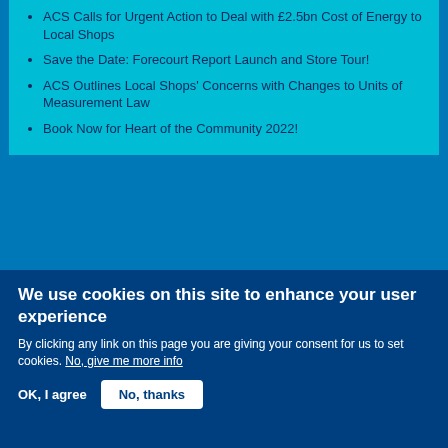ACS Calls for Urgent Action to Deal with £2.5bn Cost of Energy to Local Shops
Save the Date: Forecourt Report Launch and Store Tour!
ACS Outlines Local Shops' Concerns with Changes to Units of Measurement Law
Book Now for Heart of the Community 2022!
Archives
August 2022 (17)
July 2022 (21)
We use cookies on this site to enhance your user experience
By clicking any link on this page you are giving your consent for us to set cookies. No, give me more info
OK, I agree    No, thanks